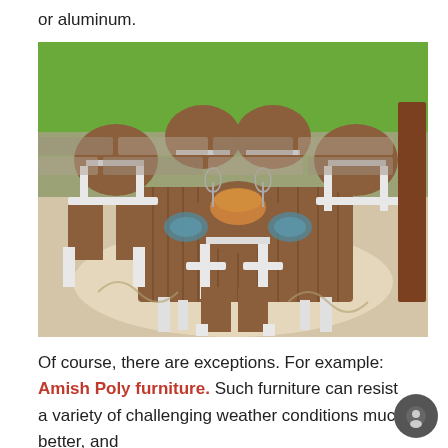or aluminum.
[Figure (photo): Outdoor patio dining set with six Adirondack-style chairs with white frames and brown slatted wood seats/backs, arranged around a rectangular table, set on a decorative rug on a patio, with a stone wall and green grass in the background.]
Of course, there are exceptions.  For example:  Amish Poly furniture. Such furniture can resist a variety of challenging weather conditions much better, and